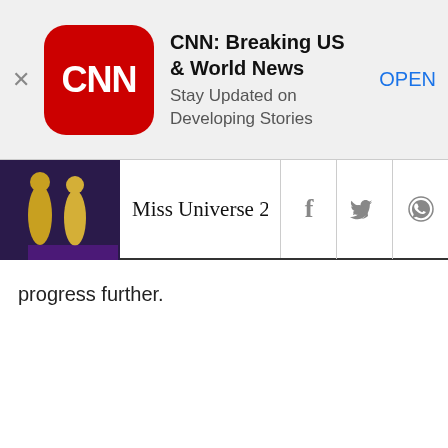[Figure (screenshot): CNN app install banner with CNN logo, title 'CNN: Breaking US & World News', subtitle 'Stay Updated on Developing Stories', and OPEN button]
[Figure (screenshot): Navigation bar showing Miss Universe 2018 thumbnail image, article title 'Miss Universe 2018: Catrio...' truncated, with Facebook, Twitter, and WhatsApp share icons]
progress further.